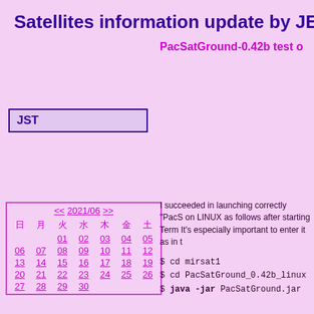Satellites information update by JE9P
PacSatGround-0.42b test o
| 日 | 月 | 火 | 水 | 木 | 金 | 土 |
| --- | --- | --- | --- | --- | --- | --- |
|  |  | 01 | 02 | 03 | 04 | 05 |
| 06 | 07 | 08 | 09 | 10 | 11 | 12 |
| 13 | 14 | 15 | 16 | 17 | 18 | 19 |
| 20 | 21 | 22 | 23 | 24 | 25 | 26 |
| 27 | 28 | 29 | 30 |  |  |  |
JST
I succeeded in launching correctly "PacS on LINUX as follows after starting Term It's especially important to enter it as in t
$ cd mirsat1
$ cd PacSatGround_0.42b_linux
$ java -jar PacSatGround.jar